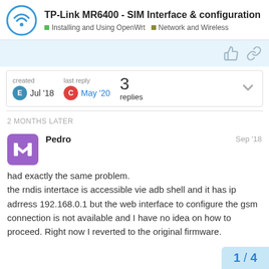TP-Link MR6400 - SIM Interface & configuration | Installing and Using OpenWrt | Network and Wireless
created Jul '18  last reply May '20  3 replies
2 MONTHS LATER
Pedro  Sep '18
had exactly the same problem.
the rndis intertace is accessible vie adb shell and it has ip adrress 192.168.0.1 but the web interface to configure the gsm connection is not available and I have no idea on how to proceed. Right now I reverted to the original firmware.
1 / 4